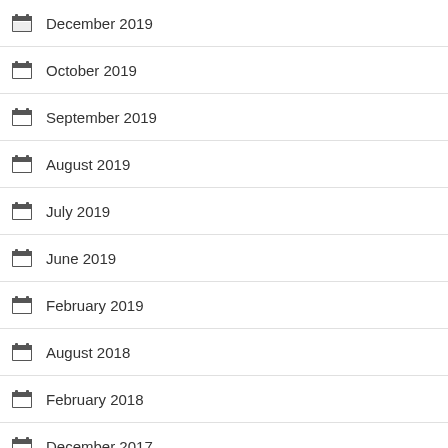December 2019
October 2019
September 2019
August 2019
July 2019
June 2019
February 2019
August 2018
February 2018
December 2017
November 2017
October 2017
August 2017